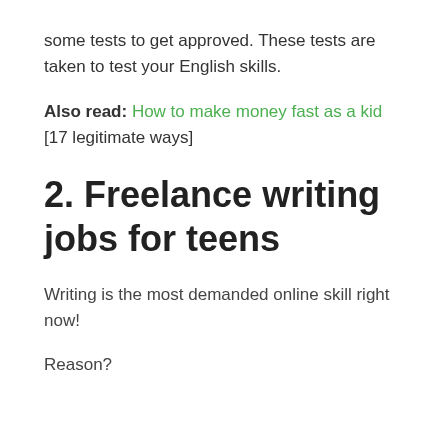some tests to get approved. These tests are taken to test your English skills.
Also read: How to make money fast as a kid [17 legitimate ways]
2. Freelance writing jobs for teens
Writing is the most demanded online skill right now!
Reason?